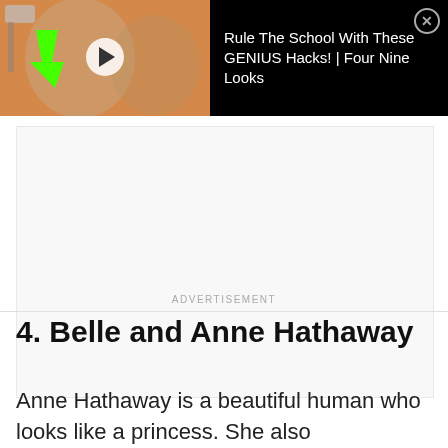[Figure (screenshot): Video ad thumbnail showing two students studying, with a play button overlay and a green arrow. Ad text reads: Rule The School With These GENIUS Hacks! | Four Nine Looks. Close button in top right corner.]
ADVERTISEMENT
4. Belle and Anne Hathaway
Anne Hathaway is a beautiful human who looks like a princess. She also